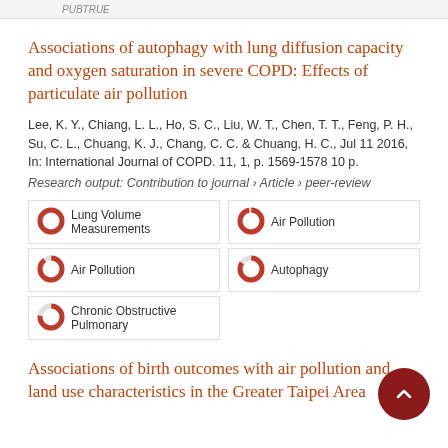PUBTRUE
Associations of autophagy with lung diffusion capacity and oxygen saturation in severe COPD: Effects of particulate air pollution
Lee, K. Y., Chiang, L. L., Ho, S. C., Liu, W. T., Chen, T. T., Feng, P. H., Su, C. L., Chuang, K. J., Chang, C. C. & Chuang, H. C., Jul 11 2016, In: International Journal of COPD. 11, 1, p. 1569-1578 10 p.
Research output: Contribution to journal › Article › peer-review
Lung Volume Measurements
Air Pollution
Air Pollution
Autophagy
Chronic Obstructive Pulmonary
Associations of birth outcomes with air pollution and land use characteristics in the Greater Taipei Area